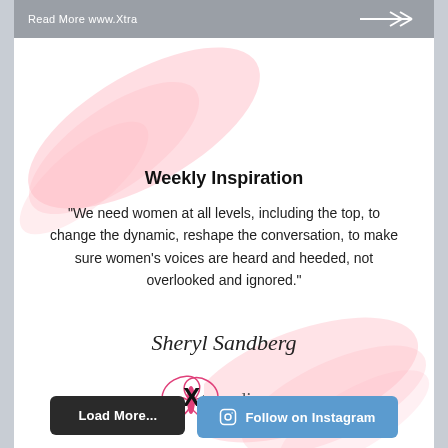Read More   www.Xtra
[Figure (illustration): Pink watercolor brush stroke decoration in top-left area]
[Figure (illustration): Pink watercolor brush stroke decoration in bottom-right area]
Weekly Inspiration
"We need women at all levels, including the top, to change the dynamic, reshape the conversation, to make sure women's voices are heard and heeded, not overlooked and ignored."
Sheryl Sandberg
[Figure (logo): Xtraordinary Women logo with pink butterfly and cursive script text]
Load More...
Follow on Instagram